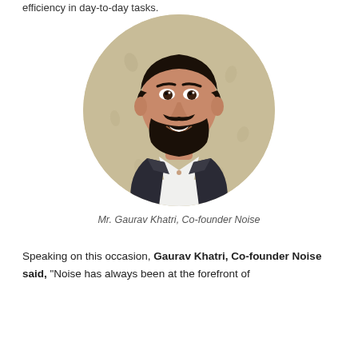efficiency in day-to-day tasks.
[Figure (photo): Circular portrait photo of Mr. Gaurav Khatri, Co-founder Noise, a young man with a beard wearing a dark blazer and white shirt, smiling, against a light beige background.]
Mr. Gaurav Khatri, Co-founder Noise
Speaking on this occasion, Gaurav Khatri, Co-founder Noise said, "Noise has always been at the forefront of